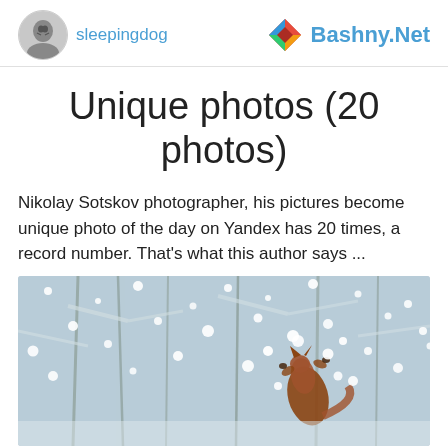sleepingdog  Bashny.Net
Unique photos (20 photos)
Nikolay Sotskov photographer, his pictures become unique photo of the day on Yandex has 20 times, a record number. That's what this author says ...
[Figure (photo): A fox or squirrel jumping up in a snowy winter scene with snowflakes flying through the air]